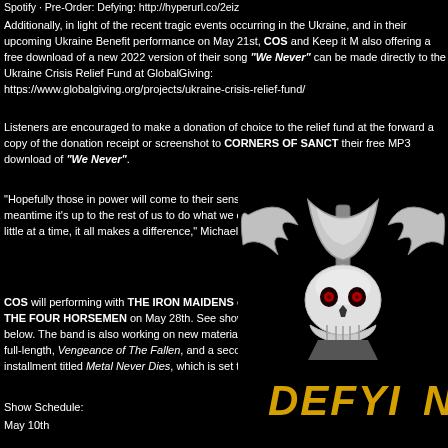Spotify · Pre-Order: Defying: http://hyperurl.co/2eiz
Additionally, in light of the recent tragic events occurring in the Ukraine, and in their upcoming Ukraine Benefit performance on May 21st, COS and Keep it M also offering a free download of a new 2022 version of their song "We Never" can be made directly to the Ukraine Crisis Relief Fund at GlobalGiving: https://www.globalgiving.org/projects/ukraine-crisis-relief-fund/
Listeners are encouraged to make a donation of choice to the relief fund at the forward a copy of the donation receipt or screenshot to CORNERS OF SANCT their free MP3 download of "We Never".
"Hopefully those in power will come to their senses, but in the meantime it’s up to the rest of us to do what we can…even if it’s a little at a time, it all makes a difference," Michaels added.
COS will performing with THE IRON MAIDENS on May 10th and THE FOUR HORSEMEN on May 28th. See show schedule below. The band is also working on new material for their next full-length, Vengeance of The Fallen, and a second best of installment titled Metal Never Dies, which is set to release in July.
Show Schedule:
May 10th
[Figure (illustration): Corners of Sanctuary band logo featuring a skull with bat wings holding an axe, with 'DEFYI' text in gold/yellow below, on black background]